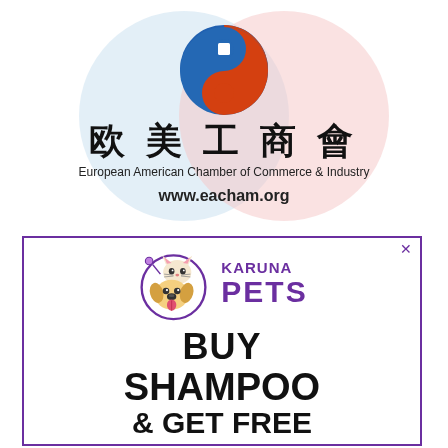[Figure (logo): European American Chamber of Commerce & Industry logo with Chinese characters (欧美工商會), yin-yang style blue and red symbol, tagline 'European American Chamber of Commerce & Industry' and website 'www.eacham.org']
[Figure (logo): Karuna Pets advertisement with purple border, cat and dog illustration in circle, 'KARUNA PETS' in purple text, and 'BUY SHAMPOO' text visible at bottom]